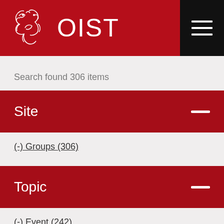OIST
Search found 306 items
Site
(-) Groups (306)
Topic
(-) Event (242)
(-) Workshops (64)